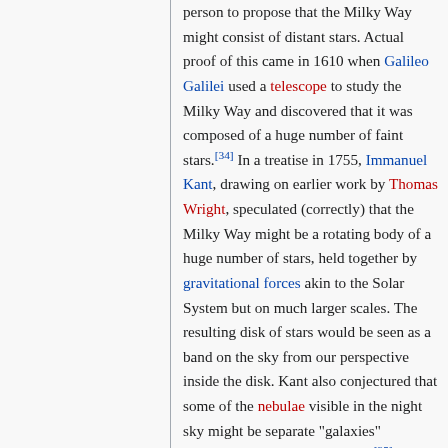person to propose that the Milky Way might consist of distant stars. Actual proof of this came in 1610 when Galileo Galilei used a telescope to study the Milky Way and discovered that it was composed of a huge number of faint stars.[34] In a treatise in 1755, Immanuel Kant, drawing on earlier work by Thomas Wright, speculated (correctly) that the Milky Way might be a rotating body of a huge number of stars, held together by gravitational forces akin to the Solar System but on much larger scales. The resulting disk of stars would be seen as a band on the sky from our perspective inside the disk. Kant also conjectured that some of the nebulae visible in the night sky might be separate "galaxies" themselves, similar to our own.[35] The first attempt to describe the shape of